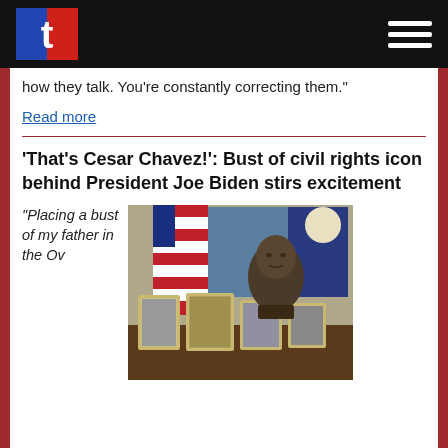t [logo]
how they talk. You’re constantly correcting them.”
Read more
‘That’s Cesar Chavez!’: Bust of civil rights icon behind President Joe Biden stirs excitement
“Placing a bust of my father in the Ov...
[Figure (photo): Photo of a desk in the Oval Office showing framed photographs and a bronze bust of Cesar Chavez with American flags in the background.]